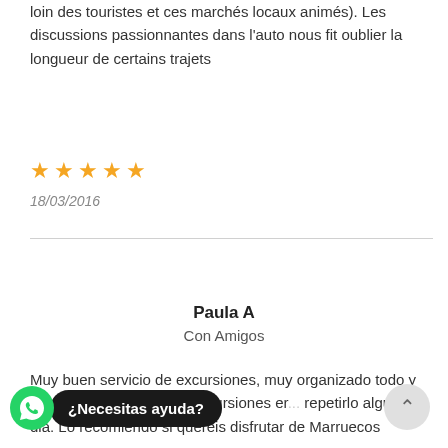loin des touristes et ces marchés locaux animés). Les discussions passionnantes dans l'auto nous fit oublier la longueur de certains trajets
★★★★★
18/03/2016
Paula A
Con Amigos
Muy buen servicio de excursiones, muy organizado todo y el que nos llevaba a las excursiones er... repetirlo algun dia. Lo recomiendo si quereis disfrutar de Marruecos
¿Necesitas ayuda?